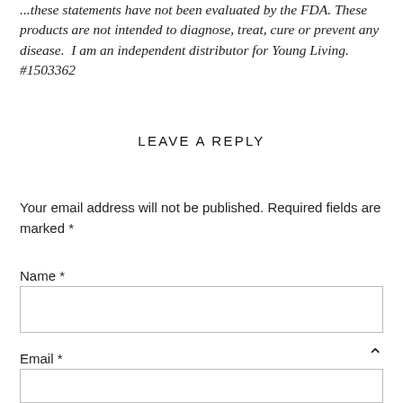...these statements have not been evaluated by the FDA. These products are not intended to diagnose, treat, cure or prevent any disease.  I am an independent distributor for Young Living.  #1503362
LEAVE A REPLY
Your email address will not be published. Required fields are marked *
Name *
Email *